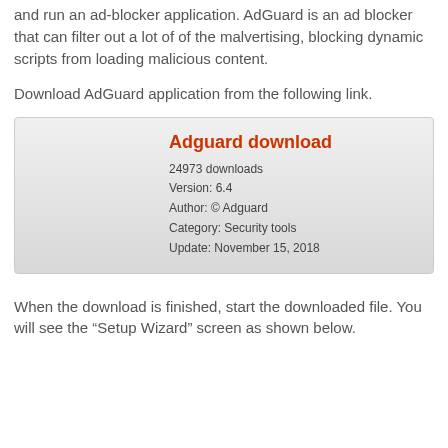and run an ad-blocker application. AdGuard is an ad blocker that can filter out a lot of of the malvertising, blocking dynamic scripts from loading malicious content.
Download AdGuard application from the following link.
[Figure (infographic): Download box with title 'Adguard download' in red, showing 24973 downloads, Version: 6.4, Author: © Adguard, Category: Security tools, Update: November 15, 2018]
When the download is finished, start the downloaded file. You will see the “Setup Wizard” screen as shown below.